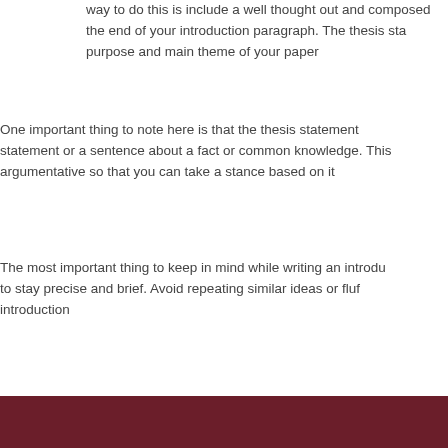way to do this is include a well thought out and composed the end of your introduction paragraph. The thesis sta purpose and main theme of your paper
One important thing to note here is that the thesis statement statement or a sentence about a fact or common knowledge. This argumentative so that you can take a stance based on it
The most important thing to keep in mind while writing an introdu to stay precise and brief. Avoid repeating similar ideas or fluf introduction
Professional essay writing service for every smart student - get by expert essay writer.